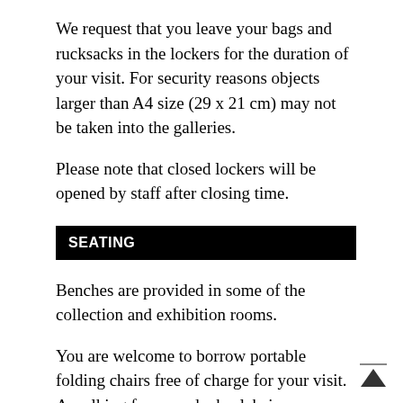We request that you leave your bags and rucksacks in the lockers for the duration of your visit. For security reasons objects larger than A4 size (29 x 21 cm) may not be taken into the galleries.
Please note that closed lockers will be opened by staff after closing time.
SEATING
Benches are provided in some of the collection and exhibition rooms.
You are welcome to borrow portable folding chairs free of charge for your visit. A walking frame and wheelchair